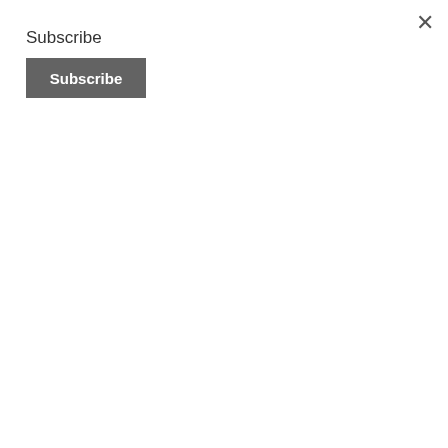Subscribe
Subscribe
what they have to say. You don't need to do this in every meeting, but when you're able to give people the chance to talk about themselves and what they like doing, then it will make them feel happier.
It also helps employees because it shows them that there are people who are willing to listen to what they have to say. Being able to have a private conversation with someone is important because that means that they won't get embarrassed or feel like everyone's looking at them when they're talking about something personal.
It Becomes Easy To Form Highly Effective Teams
ication, it's very difficult to have a
Translate »